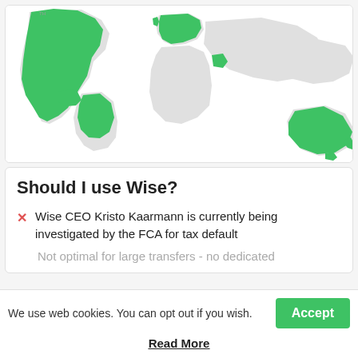[Figure (map): World map with green highlighted countries including North America (USA, Canada), Europe, Brazil, parts of Africa/Asia, and Australia, representing Wise service coverage regions. Rest of world shown in light grey.]
Should I use Wise?
Wise CEO Kristo Kaarmann is currently being investigated by the FCA for tax default
Not optimal for large transfers - no dedicated
We use web cookies. You can opt out if you wish.
Read More